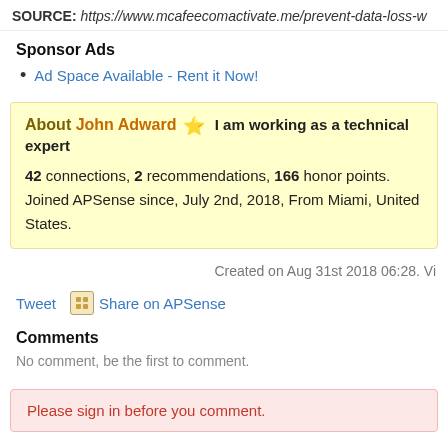SOURCE: https://www.mcafeecomactivate.me/prevent-data-loss-w
Sponsor Ads
Ad Space Available - Rent it Now!
About John Adward ⭐ I am working as a technical expert
42 connections, 2 recommendations, 166 honor points.
Joined APSense since, July 2nd, 2018, From Miami, United States.
Created on Aug 31st 2018 06:28. Vi
Tweet   Share on APSense
Comments
No comment, be the first to comment.
Please sign in before you comment.